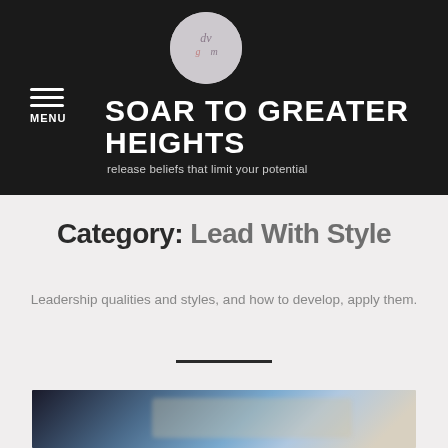[Figure (logo): Circular logo with 'dvm' style lettering on grey background]
SOAR TO GREATER HEIGHTS
release beliefs that limit your potential
Category: Lead With Style
Leadership qualities and styles, and how to develop, apply them.
[Figure (photo): Blurred photo showing stylized glasses or jewellery-like object on a blue background]